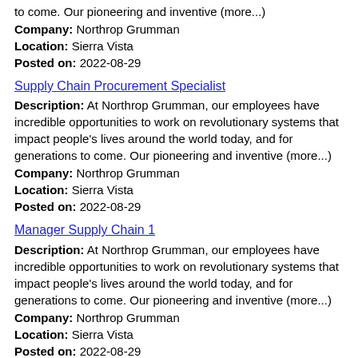to come. Our pioneering and inventive (more...)
Company: Northrop Grumman
Location: Sierra Vista
Posted on: 2022-08-29
Supply Chain Procurement Specialist
Description: At Northrop Grumman, our employees have incredible opportunities to work on revolutionary systems that impact people's lives around the world today, and for generations to come. Our pioneering and inventive (more...)
Company: Northrop Grumman
Location: Sierra Vista
Posted on: 2022-08-29
Manager Supply Chain 1
Description: At Northrop Grumman, our employees have incredible opportunities to work on revolutionary systems that impact people's lives around the world today, and for generations to come. Our pioneering and inventive (more...)
Company: Northrop Grumman
Location: Sierra Vista
Posted on: 2022-08-29
Mgr Technical Training 2
Description: At Northrop Grumman, our employees have incredible opportunities to work on revolutionary systems that impact people's lives around the world today, and for generations to come. Our pioneering and inventive (more...)